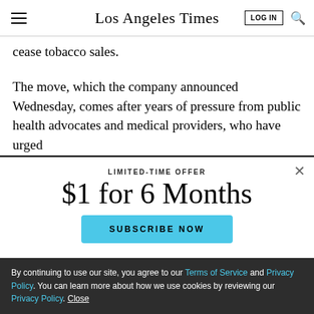Los Angeles Times
cease tobacco sales.
The move, which the company announced Wednesday, comes after years of pressure from public health advocates and medical providers, who have urged
LIMITED-TIME OFFER
$1 for 6 Months
SUBSCRIBE NOW
By continuing to use our site, you agree to our Terms of Service and Privacy Policy. You can learn more about how we use cookies by reviewing our Privacy Policy. Close